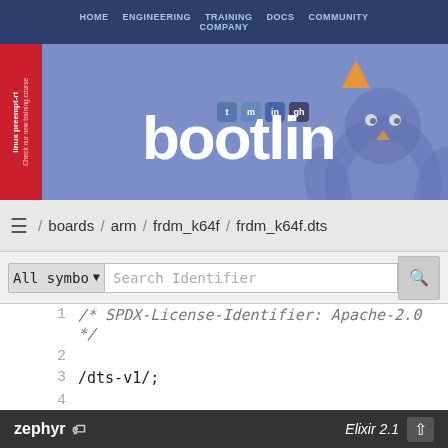[Figure (screenshot): Bootlin website header banner with navigation bar (HOME, ENGINEERING, TRAINING, DOCS, COMMUNITY, COMPANY), Bootlin logo in white, social media icons, Elixir Cross Referencer subtitle in orange monospace, Linux penguin silhouette, and red side banner reading 'linux preempt-rt Check our new training course']
/ boards / arm / frdm_k64f / frdm_k64f.dts
All symbo ▼  Search Identifier
1   /* SPDX-License-Identifier: Apache-2.0 */
2
3   /dts-v1/;
4
5   #include <nxp/MK64FN1M0VLL12.dtsi>
6
7   / {
8   (truncated)
zephyr   Elixir 2.1 ↑